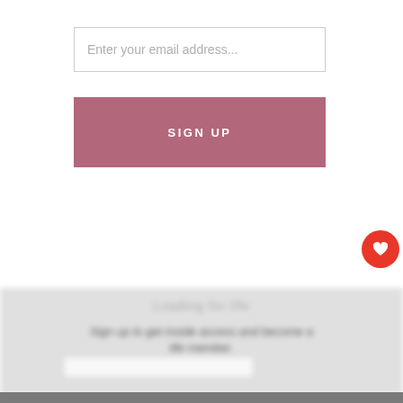Enter your email address...
SIGN UP
[Figure (screenshot): Blurred lower section of a webpage showing a newsletter sign-up modal with title, descriptive text, email input field, and a sign-up button, partially obscured by blur effect. A red circular heart/wishlist icon is visible on the right edge.]